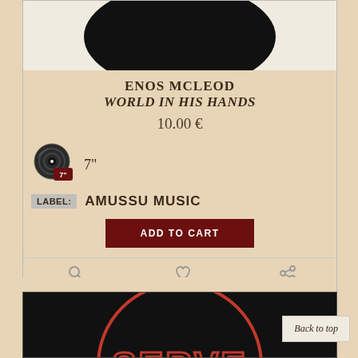[Figure (photo): Top portion of a black vinyl record on white background, cropped to show upper half]
ENOS MCLEOD
WORLD IN HIS HANDS
10.00 €
[Figure (logo): Vinyl record badge icon with '7"' label in dark red]
7"
LABEL: AMUSSU MUSIC
ADD TO CART
DETAILS  WISHLIST  SHARE
[Figure (photo): Partial view of a circular red-and-white label with text 'SERVE' visible, on black background]
Back to top